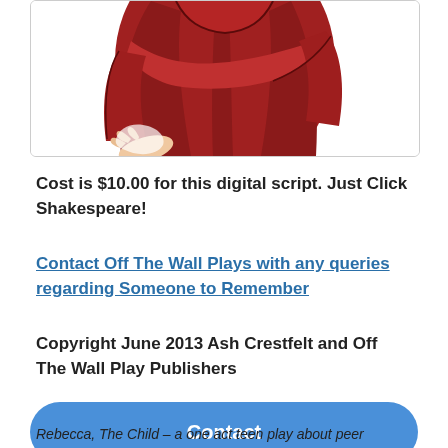[Figure (illustration): Cartoon illustration of a figure in a red robe/costume with an outstretched hand, viewed from roughly waist up, on a white background with a light grey border.]
Cost is $10.00 for this digital script. Just Click Shakespeare!
Contact Off The Wall Plays with any queries regarding Someone to Remember
Copyright June 2013 Ash Crestfelt and Off The Wall Play Publishers
Contact
Rebecca, The Child – a one act teen play about peer